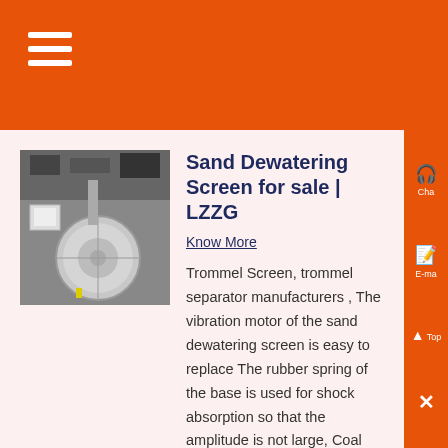[Figure (photo): Industrial sand dewatering screen equipment, grayscale photo showing machinery with circular disc component and processing equipment]
Sand Dewatering Screen for sale | LZZG
Know More
Trommel Screen, trommel separator manufacturers , The vibration motor of the sand dewatering screen is easy to replace The rubber spring of the base is used for shock absorption so that the amplitude is not large, Coal slime dewatering screen price in Indonesia; Sand washing machine and dewatering screen for sale in Indonesia;...